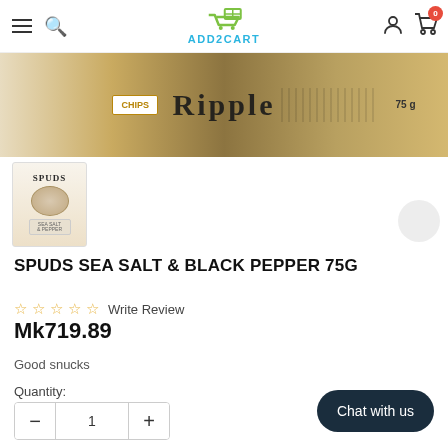ADD2CART
[Figure (photo): Ripple chips product banner image cropped at top, partially visible packaging with text 'Ripple' and '75g']
[Figure (photo): Thumbnail image of Spuds Sea Salt & Black Pepper 75g product bag]
SPUDS SEA SALT & BLACK PEPPER 75G
☆ ☆ ☆ ☆ ☆ Write Review
Mk719.89
Good snucks
Quantity:
- 1 +
Chat with us